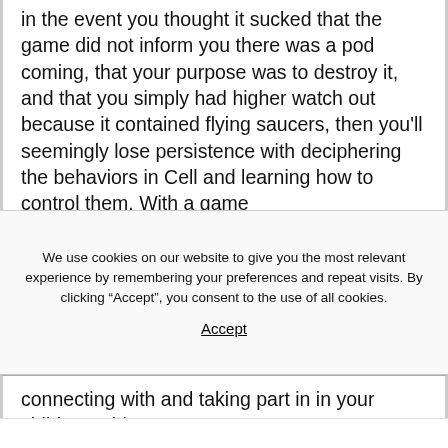in the event you thought it sucked that the game did not inform you there was a pod coming, that your purpose was to destroy it, and that you simply had higher watch out because it contained flying saucers, then you'll seemingly lose persistence with deciphering the behaviors in Cell and learning how to control them. With a game
We use cookies on our website to give you the most relevant experience by remembering your preferences and repeat visits. By clicking “Accept”, you consent to the use of all cookies.
Accept
connecting with and taking part in in your child’s worlds.